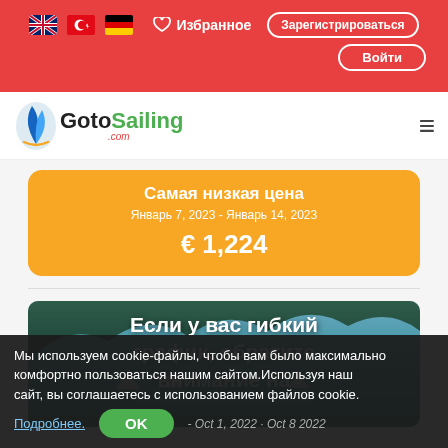[Figure (screenshot): Top navigation bar with red background showing language flags (UK, Turkey, Germany), Избранное (Favorites) button, Зарегистрироваться (Register) button, and Войти (Login) button]
[Figure (logo): GotoSailing.com logo with blue sail icon and hamburger menu icon]
Самая низкая цена
Январь 7, 2023 - Январь 14, 2023
€ 1,224
[Figure (photo): Aerial photo of turquoise bay with sailboats and green forested hills]
Если у вас гибкий график, обратите внимание на
Мы используем cookie-файлы, чтобы вам было максимально комфортно пользоваться нашим сайтом.Используя наш сайт, вы соглашаетесь с использованием файлов cookie.
Подробнее.
OK